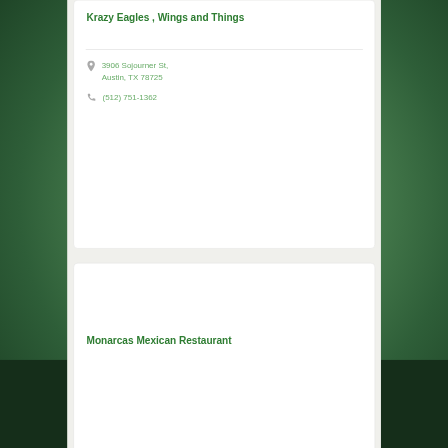Krazy Eagles , Wings and Things
3906 Sojourner St, Austin, TX 78725
(512) 751-1362
Monarcas Mexican Restaurant